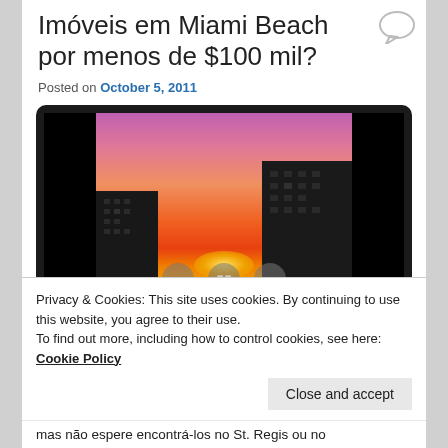Imóveis em Miami Beach por menos de $100 mil?
Posted on October 5, 2011
[Figure (photo): Video player showing a sunset photo between two dark buildings in Miami Beach, with orange, pink and purple sky. Video controls (back, pause, forward) are visible at the bottom.]
Privacy & Cookies: This site uses cookies. By continuing to use this website, you agree to their use.
To find out more, including how to control cookies, see here:
Cookie Policy
Close and accept
mas não espere encontrá-los no St. Regis ou no